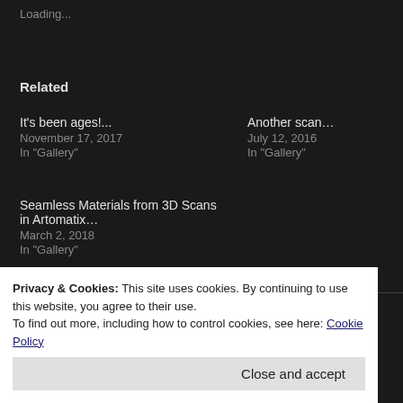Loading...
Related
It's been ages!...
November 17, 2017
In "Gallery"
Another scan…
July 12, 2016
In "Gallery"
Seamless Materials from 3D Scans in Artomatix…
March 2, 2018
In "Gallery"
~ by petemcnally on November 23, 2017
Privacy & Cookies: This site uses cookies. By continuing to use this website, you agree to their use.
To find out more, including how to control cookies, see here: Cookie Policy
Close and accept